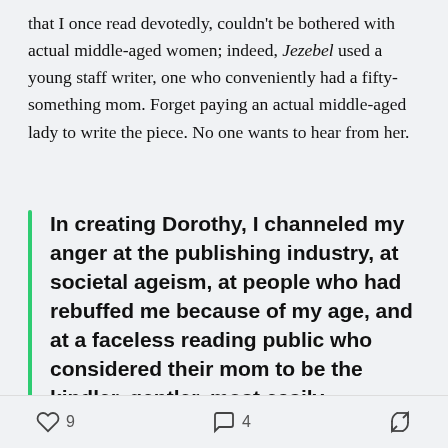that I once read devotedly, couldn't be bothered with actual middle-aged women; indeed, Jezebel used a young staff writer, one who conveniently had a fifty-something mom. Forget paying an actual middle-aged lady to write the piece. No one wants to hear from her.
In creating Dorothy, I channeled my anger at the publishing industry, at societal ageism, at people who had rebuffed me because of my age, and at a faceless reading public who considered their mom to be the kindler, gentler, most easily dismissed face of female aging.
9 likes  4 comments  share